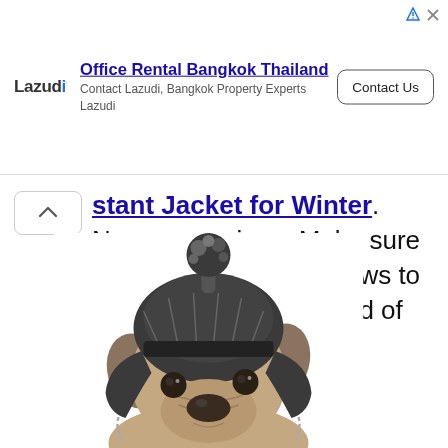[Figure (screenshot): Advertisement banner for Lazudi Office Rental Bangkok Thailand with Contact Us button]
stant Jacket for Winter. Necessary piece. Make sure you check out the reviews to get the right size instead of keeping returning.
[Figure (photo): French bulldog wearing a black and white knit winter hat with a pom-pom on top, looking at the camera against a white background]